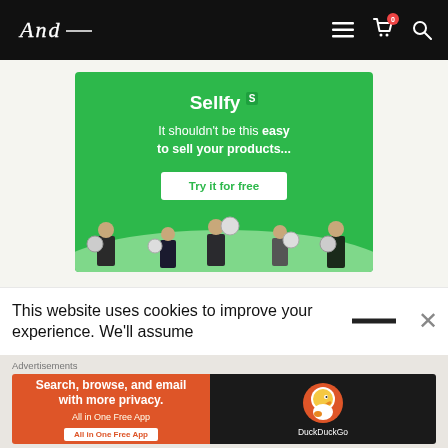And — navigation bar with logo, hamburger menu, cart (0), search
[Figure (infographic): Sellfy advertisement: green background with tagline 'It shouldn't be this easy to sell your products...' and 'Try it for free' button, with illustrated people holding coins at bottom]
This website uses cookies to improve your experience. We'll assume
[Figure (infographic): DuckDuckGo advertisement: 'Search, browse, and email with more privacy. All in One Free App' on orange background with DuckDuckGo logo on dark background]